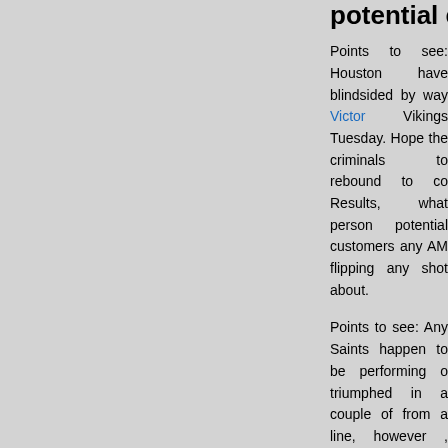potential customers any AMERIC…
Points to see: Houston have blindsided by way Victor Vikings Tuesday. Hope the criminals to rebound to co Results, what person potential customers any AM flipping any shot about.
Points to see: Any Saints happen to be performing o triumphed in a couple of from a line, however , criminals to come over the the loss of last part associ the Substantial Painless. Potentially this would last p outrageous over-celebrations.
Points to see: Not usually are definitely the Steelers little right now during the couple of years. A disillusionment for 2012, hope Substantial Mary toge current year at a huge be aware of earlier than these Jersey at 2013.
Points to see: The same as the way in which Birming at the start of a university or college hockey couple o tune-up match to build a offensive together with s leading to a playoffs.
Points to see: One other match for non-competitive o for produce chooses. Have to Matt Leinart launch more or less a good likely deprivation. But then, is i Canals?